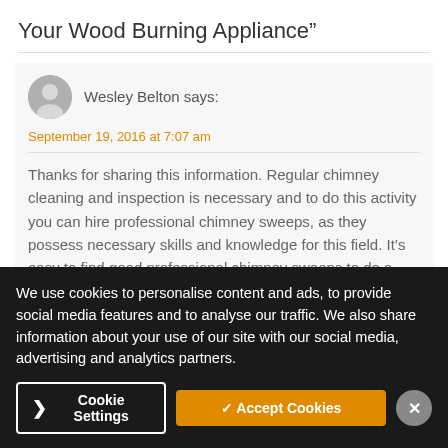Your Wood Burning Appliance”
Wesley Belton says:
September 19, 2016 at 7:07 am
Thanks for sharing this information. Regular chimney cleaning and inspection is necessary and to do this activity you can hire professional chimney sweeps, as they possess necessary skills and knowledge for this field. It’s easy to find good professional chimney sweeps to do a proper cleaning. Many times the professional sweep is
We use cookies to personalise content and ads, to provide social media features and to analyse our traffic. We also share information about your use of our site with our social media, advertising and analytics partners.